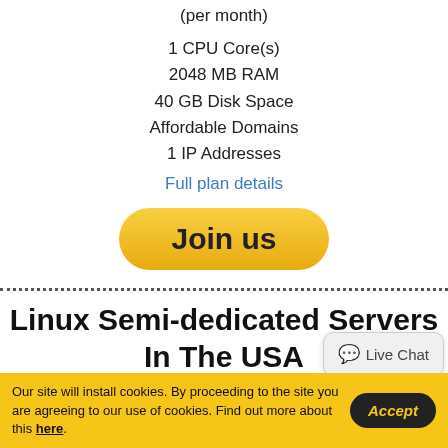(per month)
1 CPU Core(s)
2048 MB RAM
40 GB Disk Space
Affordable Domains
1 IP Addresses
Full plan details
Join us
Linux Semi-dedicated Servers In The USA
Visionary Direct's Linux semi-dedicated servers in the USA are
Live Chat
Our site will install cookies. By proceeding to the site you are agreeing to our use of cookies. Find out more about this here.
Accept